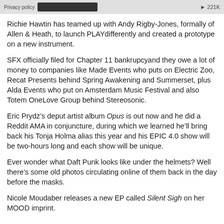Privacy policy | 221K
Richie Hawtin has teamed up with Andy Rigby-Jones, formally of Allen & Heath, to launch PLAYdifferently and created a prototype on a new instrument.
SFX officially filed for Chapter 11 bankrupcyand they owe a lot of money to companies like Made Events who puts on Electric Zoo, Recat Presents behind Spring Awakening and Summerset, plus Alda Events who put on Amsterdam Music Festival and also Totem OneLove Group behind Stereosonic.
Eric Prydz's deput artist album Opus is out now and he did a Reddit AMA in conjuncture, during which we learned he'll bring back his Tonja Holma alias this year and his EPIC 4.0 show will be two-hours long and each show will be unique.
Ever wonder what Daft Punk looks like under the helmets? Well there's some old photos circulating online of them back in the day before the masks.
Nicole Moudaber releases a new EP called Silent Sigh on her MOOD imprint.